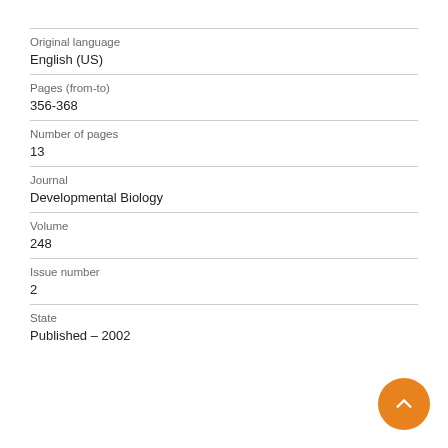Original language
English (US)
Pages (from-to)
356-368
Number of pages
13
Journal
Developmental Biology
Volume
248
Issue number
2
State
Published - 2002